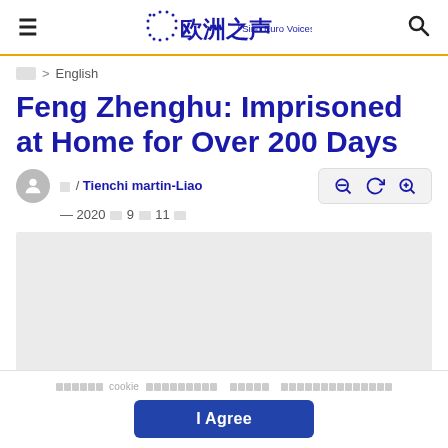欧洲之声 / Sino Euro Voices
🏠 > English
Feng Zhenghu: Imprisoned at Home for Over 200 Days
著 / Tienchi martin-Liao — 2020年9月11日
[Figure (photo): Article image placeholder (grey box)]
我们使用 cookie 来改善您的浏览体验。 了解更多 请阅读我们的隐私政策了解更多信息。